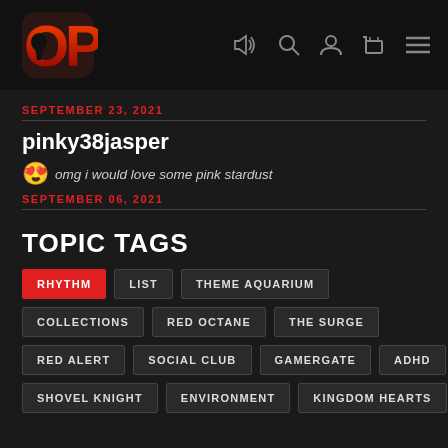OP logo with navigation icons: sound, search, user, cart, menu
SEPTEMBER 23, 2021
pinky38jasper
😍 omg i would love some pink stardust
SEPTEMBER 06, 2021
TOPIC TAGS
RHYTHM
LIST
THEME AQUARIUM
COLLECTIONS
RED OCTANE
THE SURGE
RED ALERT
SOCIAL CLUB
GAMERGATE
ADHD
SHOVEL KNIGHT
ENVIRONMENT
KINGDOM HEARTS